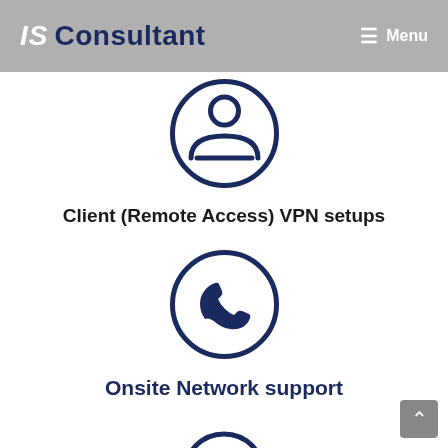IS Consultant   ≡ Menu
[Figure (illustration): Dark navy blue person/user icon inside a circle outline]
Client (Remote Access) VPN setups
[Figure (illustration): Dark navy blue telephone handset icon inside a circle outline]
Onsite Network support
[Figure (illustration): Partial dark navy blue circle icon at the bottom of the page (cut off)]